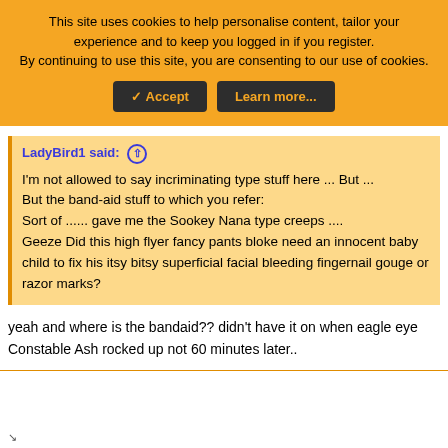This site uses cookies to help personalise content, tailor your experience and to keep you logged in if you register. By continuing to use this site, you are consenting to our use of cookies.
✓ Accept | Learn more...
LadyBird1 said: ⊕
I'm not allowed to say incriminating type stuff here ... But ...
But the band-aid stuff to which you refer:
Sort of ...... gave me the Sookey Nana type creeps ....
Geeze Did this high flyer fancy pants bloke need an innocent baby child to fix his itsy bitsy superficial facial bleeding fingernail gouge or razor marks?
yeah and where is the bandaid?? didn't have it on when eagle eye Constable Ash rocked up not 60 minutes later..